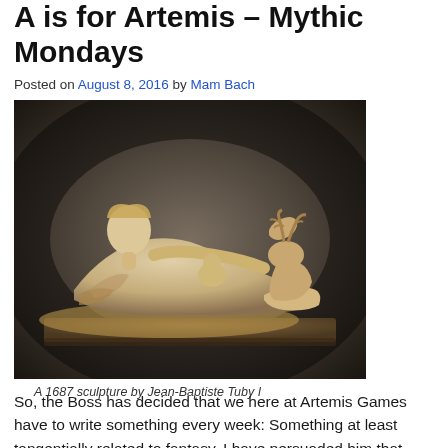A is for Artemis – Mythic Mondays
Posted on August 8, 2016 by Mam Bach
[Figure (photo): A marble sculpture of a reclining female figure with a deer, created in 1687 by Jean-Baptiste Tuby I.]
A 1687 sculpture by Jean-Baptiste Tuby I
So, the Boss has decided that we here at Artemis Games have to write something every week: Something at least tangentially related to fantasy. I have persuaded him that